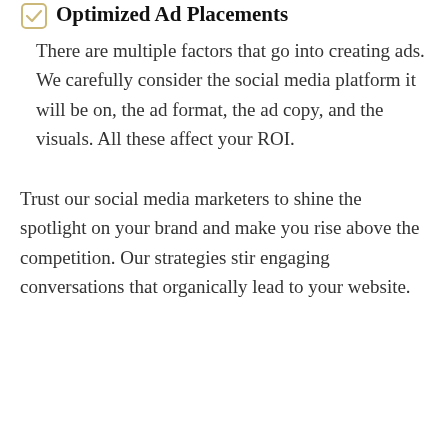Optimized Ad Placements
There are multiple factors that go into creating ads. We carefully consider the social media platform it will be on, the ad format, the ad copy, and the visuals. All these affect your ROI.
Trust our social media marketers to shine the spotlight on your brand and make you rise above the competition. Our strategies stir engaging conversations that organically lead to your website.